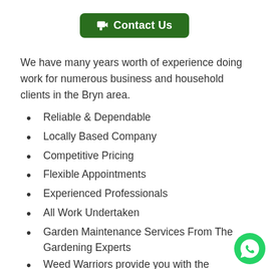[Figure (other): Green rounded button with megaphone icon and text 'Contact Us']
We have many years worth of experience doing work for numerous business and household clients in the Bryn area.
Reliable & Dependable
Locally Based Company
Competitive Pricing
Flexible Appointments
Experienced Professionals
All Work Undertaken
Garden Maintenance Services From The Gardening Experts
Weed Warriors provide you with the profession help you need in maintaining your yard and
[Figure (other): WhatsApp green circular icon in the bottom right corner]